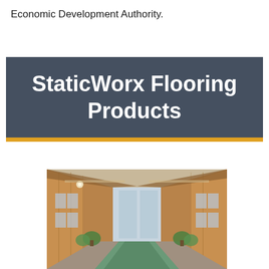Economic Development Authority.
StaticWorx Flooring Products
[Figure (photo): Interior atrium corridor of a commercial building with wood-paneled walls, potted plants, and a green runner carpet down the center hallway leading to glass doors.]